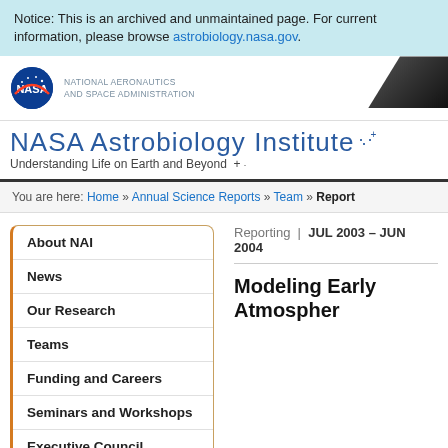Notice: This is an archived and unmaintained page. For current information, please browse astrobiology.nasa.gov.
[Figure (logo): NASA logo (meatball) with agency name: National Aeronautics and Space Administration]
NASA Astrobiology Institute
Understanding Life on Earth and Beyond
You are here: Home » Annual Science Reports » Team » Report
About NAI
News
Our Research
Teams
Funding and Careers
Seminars and Workshops
Executive Council
Directory
Reporting | JUL 2003 – JUN 2004
Modeling Early Atmospher